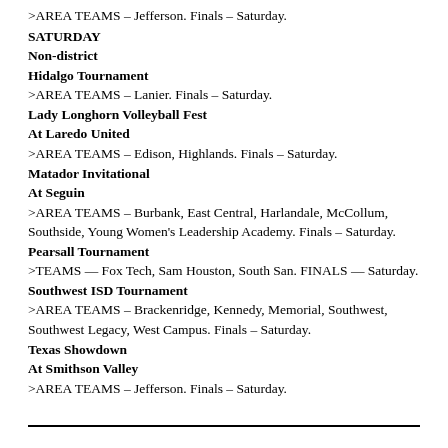>AREA TEAMS – Jefferson. Finals – Saturday.
SATURDAY
Non-district
Hidalgo Tournament
>AREA TEAMS – Lanier. Finals – Saturday.
Lady Longhorn Volleyball Fest
At Laredo United
>AREA TEAMS – Edison, Highlands. Finals – Saturday.
Matador Invitational
At Seguin
>AREA TEAMS – Burbank, East Central, Harlandale, McCollum, Southside, Young Women's Leadership Academy. Finals – Saturday.
Pearsall Tournament
>TEAMS — Fox Tech, Sam Houston, South San. FINALS — Saturday.
Southwest ISD Tournament
>AREA TEAMS – Brackenridge, Kennedy, Memorial, Southwest, Southwest Legacy, West Campus. Finals – Saturday.
Texas Showdown
At Smithson Valley
>AREA TEAMS – Jefferson. Finals – Saturday.